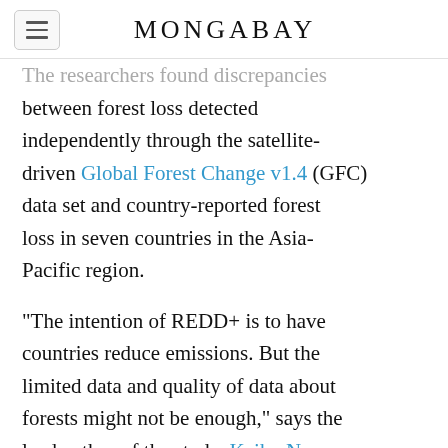MONGABAY
The researchers found discrepancies between forest loss detected independently through the satellite-driven Global Forest Change v1.4 (GFC) data set and country-reported forest loss in seven countries in the Asia-Pacific region.
"The intention of REDD+ is to have countries reduce emissions. But the limited data and quality of data about forests might not be enough," says the lead author of the study, Keiko Nomura, who previously worked for the U.N. REDD program in Myanmar, Sri Lanka and Cambodia. "We are looking at how we can make REDD+ more effective